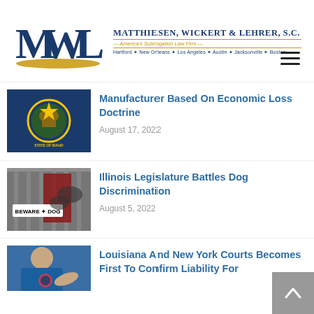[Figure (logo): MWL Matthiesen, Wickert & Lehrer, S.C. law firm logo with MWL letters in blue and gold, tagline America's Subrogation Law Firm, offices Hartford, New Orleans, Los Angeles, Austin, Jacksonville, Boston]
Manufacturer Based On Economic Loss Doctrine
August 17, 2022
[Figure (photo): Photo showing a dog warning sign BEWARE OF DOG on a metal gate with dogs in background]
Illinois Legislature Battles Dog Discrimination
August 5, 2022
[Figure (photo): Photo of a person in blue jacket gesturing, partially visible]
Louisiana And New York Courts Becomes First To Confirm Liability For